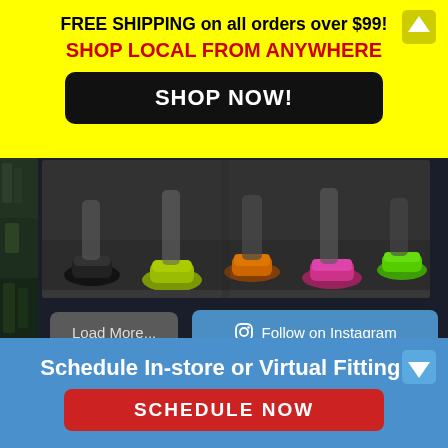FREE SHIPPING on all orders over $99!
SHOP LOCAL FROM ANYWHERE
SHOP NOW!
[Figure (photo): Close-up of runners' feet and colorful athletic shoes on pavement during a race]
Load More...
Follow on Instagram
[Figure (photo): Small thumbnail of runners on a road race, seen from behind]
[Figure (photo): Small thumbnail of a trail path through trees]
LET'S CONNECT
Schedule In-store or Virtual Fitting!
SCHEDULE NOW